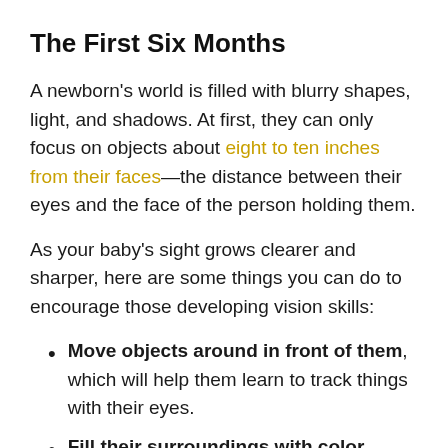The First Six Months
A newborn's world is filled with blurry shapes, light, and shadows. At first, they can only focus on objects about eight to ten inches from their faces—the distance between their eyes and the face of the person holding them.
As your baby's sight grows clearer and sharper, here are some things you can do to encourage those developing vision skills:
Move objects around in front of them, which will help them learn to track things with their eyes.
Fill their surroundings with color. Babies can get bored if there's nothing interesting to look at, and you want them looking around as much as possible! They find mobiles hanging over